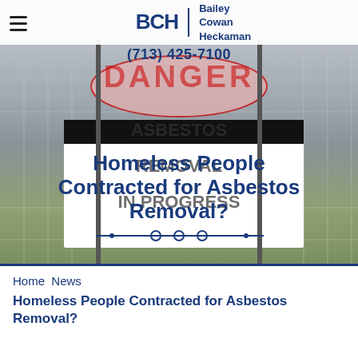[Figure (screenshot): Website screenshot showing BCH (Bailey Cowan Heckaman) law firm header with logo, hamburger menu, phone number (713) 425-7100, overlaid on a photo of an asbestos removal warning sign (ASBESTOS REMOVAL IN PROGRESS) with blue overlay text reading 'Homeless People Contracted for Asbestos Removal?']
Home   News
Homeless People Contracted for Asbestos Removal?